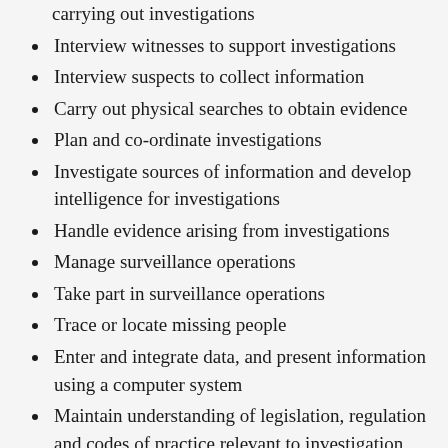carrying out investigations
Interview witnesses to support investigations
Interview suspects to collect information
Carry out physical searches to obtain evidence
Plan and co-ordinate investigations
Investigate sources of information and develop intelligence for investigations
Handle evidence arising from investigations
Manage surveillance operations
Take part in surveillance operations
Trace or locate missing people
Enter and integrate data, and present information using a computer system
Maintain understanding of legislation, regulation and codes of practice relevant to investigation
Present evidence in court and at other hearings
Promote a healthy and safe culture in the workplace
Communicate effectively with others
Develop productive working relationships with